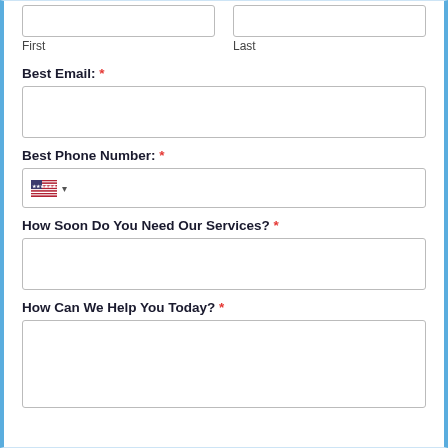First
Last
Best Email: *
[Figure (other): Empty text input box for Best Email]
Best Phone Number: *
[Figure (other): Phone input box with US flag dropdown]
How Soon Do You Need Our Services? *
[Figure (other): Empty text input box]
How Can We Help You Today? *
[Figure (other): Large empty textarea input box]